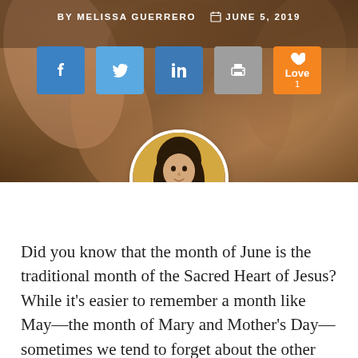BY MELISSA GUERRERO  JUNE 5, 2019
[Figure (photo): Background hero image showing bronze or clay hands sculpture, warm brown tones. Social media share buttons (Facebook, Twitter, LinkedIn, Print, Love) overlaid. Circular author headshot of a young woman with long dark hair centered at bottom of hero area.]
Did you know that the month of June is the traditional month of the Sacred Heart of Jesus? While it's easier to remember a month like May—the month of Mary and Mother's Day—sometimes we tend to forget about the other months. The one that is most frequently...